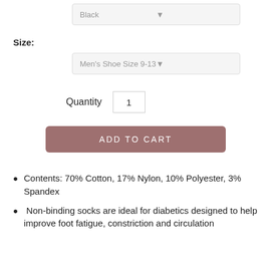Black
Size:
Men's Shoe Size 9-13
Quantity  1
ADD TO CART
Contents: 70% Cotton, 17% Nylon, 10% Polyester, 3% Spandex
Non-binding socks are ideal for diabetics designed to help improve foot fatigue, constriction and circulation